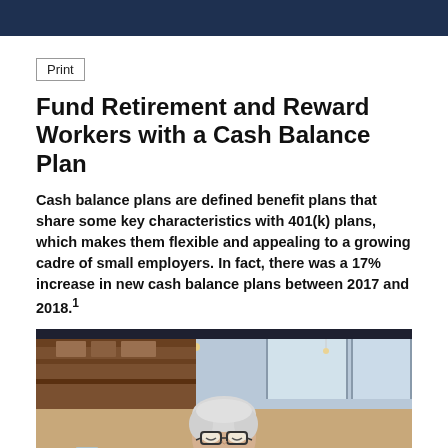Print
Fund Retirement and Reward Workers with a Cash Balance Plan
Cash balance plans are defined benefit plans that share some key characteristics with 401(k) plans, which makes them flexible and appealing to a growing cadre of small employers. In fact, there was a 17% increase in new cash balance plans between 2017 and 2018.¹
[Figure (photo): Older woman with short white hair and glasses, smiling and looking down, wearing an orange-brown top, seated in a modern cafe/restaurant setting with warm lighting]